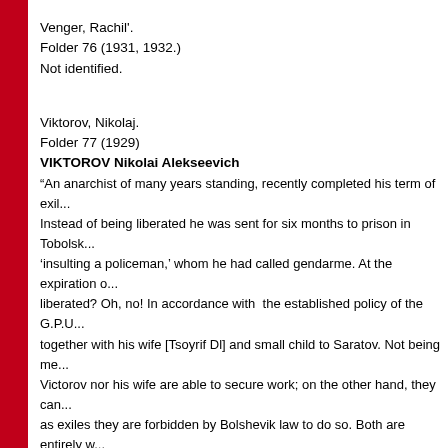Venger, Rachil'.
Folder 76 (1931, 1932.)
Not identified.
Viktorov, Nikolaj.
Folder 77 (1929)
VIKTOROV Nikolai Alekseevich
“An anarchist of many years standing, recently completed his term of exi... Instead of being liberated he was sent for six months to prison in Tobolsk... 'insulting a policeman,' whom he had called gendarme. At the expiration of... liberated? Oh, no! In accordance with the established policy of the G.P.U... together with his wife [Tsoyrif Dl] and small child to Saratov. Not being me... Victorov nor his wife are able to secure work; on the other hand, they can... as exiles they are forbidden by Bolshevik law to do so. Both are entirely w... subsistance, and their case is further aggravated by Victorov's illness.” (s... 575).
Volkov, Gennadij G.
Folder 77 (1934.)